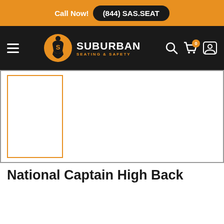Call Now! (844) SAS.SEAT
[Figure (logo): Suburban Seating & Safety logo with orange circular icon and white text on dark navigation bar]
[Figure (photo): Product image placeholder with orange border outline on white background]
National Captain High Back